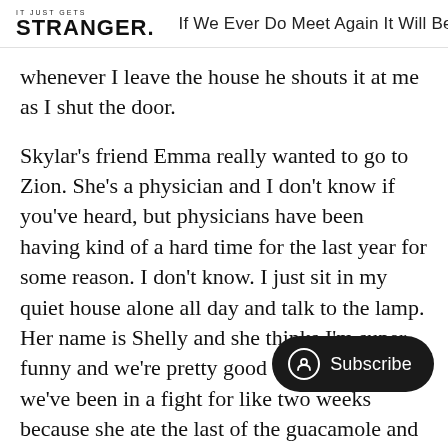IT JUST GETS STRANGER. If We Ever Do Meet Again It Will Be
whenever I leave the house he shouts it at me as I shut the door.
Skylar's friend Emma really wanted to go to Zion. She's a physician and I don't know if you've heard, but physicians have been having kind of a hard time for the last year for some reason. I don't know. I just sit in my quiet house alone all day and talk to the lamp. Her name is Shelly and she thinks I'm super funny and we're pretty good companions but we've been in a fight for like two weeks because she ate the last of the guacamole and like, it's not that big won't admit it and honestly that's the bothering me. Also I found out she's a serial killer.